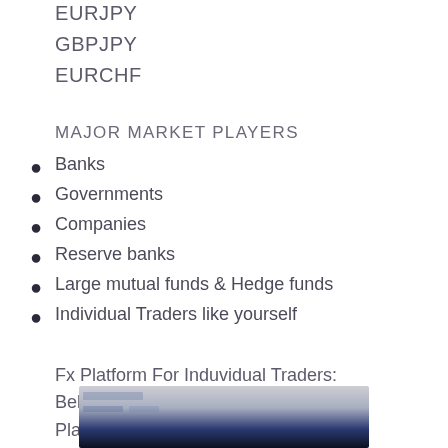EURJPY
GBPJPY
EURCHF
MAJOR MARKET PLAYERS
Banks
Governments
Companies
Reserve banks
Large mutual funds & Hedge funds
Individual Traders like yourself
Fx Platform For Induvidual Traders: Below is the picture of Fx Trading Platform
[Figure (screenshot): Blurred screenshot of an Fx Trading Platform at the bottom of the page]